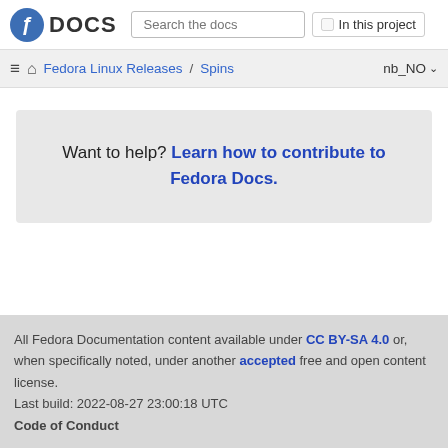Fedora DOCS | Search the docs | In this project
Fedora Linux Releases / Spins  nb_NO
Want to help? Learn how to contribute to Fedora Docs.
All Fedora Documentation content available under CC BY-SA 4.0 or, when specifically noted, under another accepted free and open content license.
Last build: 2022-08-27 23:00:18 UTC
Code of Conduct